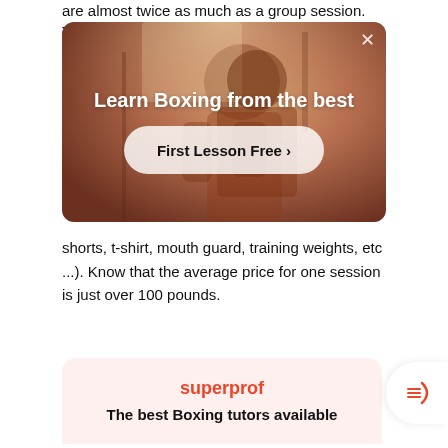are almost twice as much as a group session. This is
[Figure (screenshot): Advertisement banner with boxing image showing a person in a boxing gym. Text reads 'Learn Boxing from the best' with a button 'First Lesson Free >' and an X close button in the top right.]
shorts, t-shirt, mouth guard, training weights, etc ...). Know that the average price for one session is just over 100 pounds.
[Figure (screenshot): Superprof app card with pink background showing 'superprof' logo in red and text 'The best Boxing tutors available'. A hamburger menu button appears on the right side.]